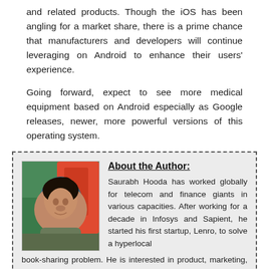and related products. Though the iOS has been angling for a market share, there is a prime chance that manufacturers and developers will continue leveraging on Android to enhance their users' experience.
Going forward, expect to see more medical equipment based on Android especially as Google releases, newer, more powerful versions of this operating system.
[Figure (photo): Headshot photo of author Saurabh Hooda]
About the Author:
Saurabh Hooda has worked globally for telecom and finance giants in various capacities. After working for a decade in Infosys and Sapient, he started his first startup, Lenro, to solve a hyperlocal book-sharing problem. He is interested in product, marketing, and analytics. His latest venture Hackr.io recommends the best Android tutorial and online programming courses for